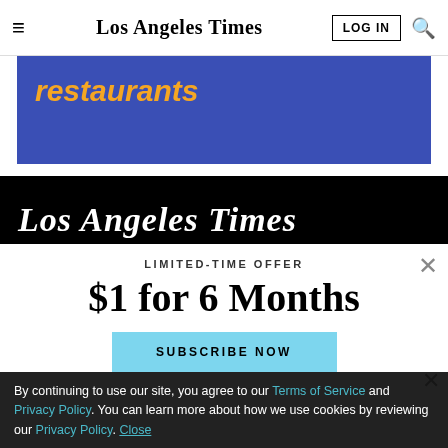Los Angeles Times | LOG IN | Search
[Figure (illustration): Blue banner with bold italic orange text reading 'restaurants']
[Figure (logo): Los Angeles Times logo in white on black background, serif italic font]
LIMITED-TIME OFFER
$1 for 6 Months
SUBSCRIBE NOW
By continuing to use our site, you agree to our Terms of Service and Privacy Policy. You can learn more about how we use cookies by reviewing our Privacy Policy. Close